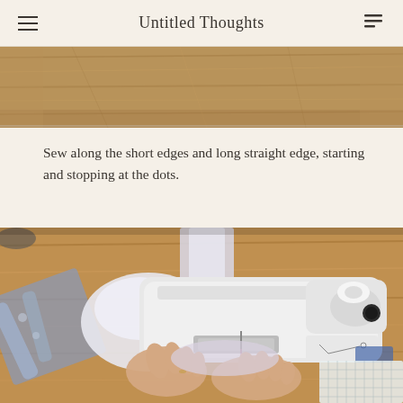Untitled Thoughts
[Figure (photo): Top portion of a wooden table surface, partially visible at the top of the page, cropped]
Sew along the short edges and long straight edge, starting and stopping at the dots.
[Figure (photo): Overhead view of a white sewing machine on a wooden table with fabric being sewn, hands guiding the fabric, fabric straps visible to the left]